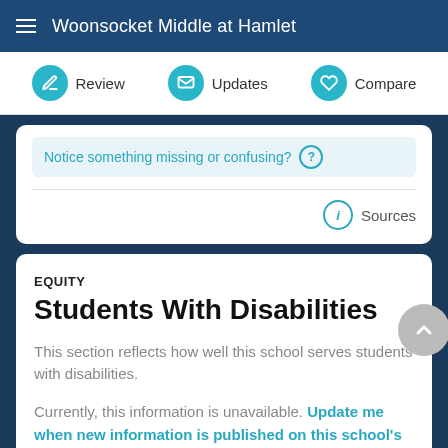Woonsocket Middle at Hamlet
Review | Updates | Compare
Notice something missing or confusing?
Sources
EQUITY
Students With Disabilities
This section reflects how well this school serves students with disabilities.
Currently, this information is unavailable. Update me when new information is published on this school's profile.